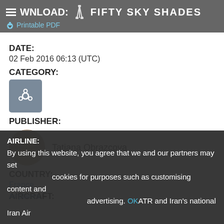WNLOAD: FIFTY SKY SHADES | Printable PDF
DATE:
02 Feb 2016 06:13 (UTC)
CATEGORY:
[Figure (other): Category icon with gear/settings symbol]
PUBLISHER:
[Figure (photo): Circular avatar photo of Tatjana Obrazcova, a blonde woman]
Tatjana Obrazcova
COUNTRY:
France
AIRCRAFT:
Airplanes
AIRLINE:
Iran Air
World's leading turboprop manufacturer ATR and Iran's national
By using this website, you agree that we and our partners may set cookies for purposes such as customising content and advertising. OK